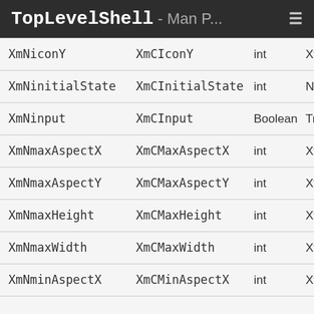TopLevelShell - Man P... ≡
| Name | Class | Type | Default |
| --- | --- | --- | --- |
| XmNiconY | XmCIconY | int | XtUnspe... |
| XmNinitialState | XmCInitialState | int | NormalS... |
| XmNinput | XmCInput | Boolean | True |
| XmNmaxAspectX | XmCMaxAspectX | int | XtUnspe... |
| XmNmaxAspectY | XmCMaxAspectY | int | XtUnspe... |
| XmNmaxHeight | XmCMaxHeight | int | XtUnspe... |
| XmNmaxWidth | XmCMaxWidth | int | XtUnspe... |
| XmNminAspectX | XmCMinAspectX | int | XtUnspe... |